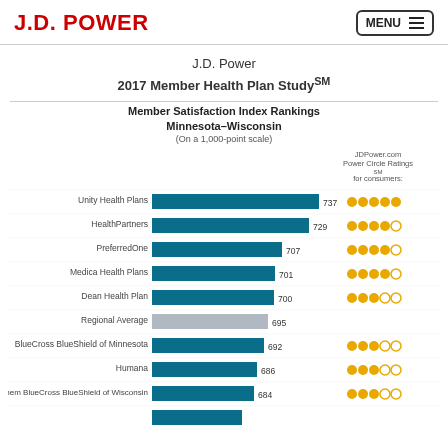J.D. POWER
J.D. Power
2017 Member Health Plan StudySM
[Figure (bar-chart): Member Satisfaction Index Rankings Minnesota–Wisconsin (On a 1,000-point scale)]